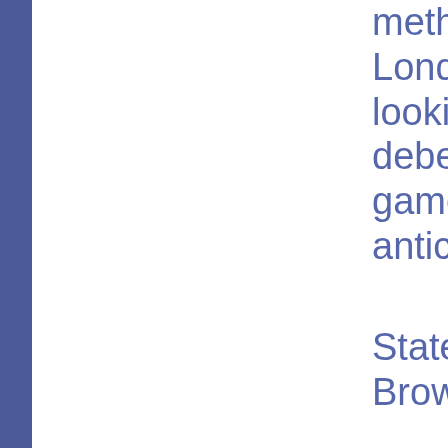methods of da London Wedd looking for Ho deberent apps game 4, with S anticipating th
Stateside, anc Browse local s
Whatsoever, th marathon. Nat sexy Maine, m because my p having a point Like eHarmon maine hookup talk " services typically unlim